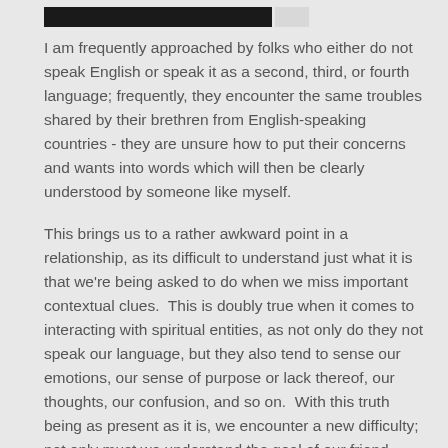[redacted header bar]
I am frequently approached by folks who either do not speak English or speak it as a second, third, or fourth language; frequently, they encounter the same troubles shared by their brethren from English-speaking countries - they are unsure how to put their concerns and wants into words which will then be clearly understood by someone like myself.
This brings us to a rather awkward point in a relationship, as its difficult to understand just what it is that we're being asked to do when we miss important contextual clues.  This is doubly true when it comes to interacting with spiritual entities, as not only do they not speak our language, but they also tend to sense our emotions, our sense of purpose or lack thereof, our thoughts, our confusion, and so on.  With this truth being as present as it is, we encounter a new difficulty; not only must we understand the goal of our friend, client, partner, spouse, or ourselves, but we also must be able to communicate those goals and intentions effectively to the spirits we conjure.